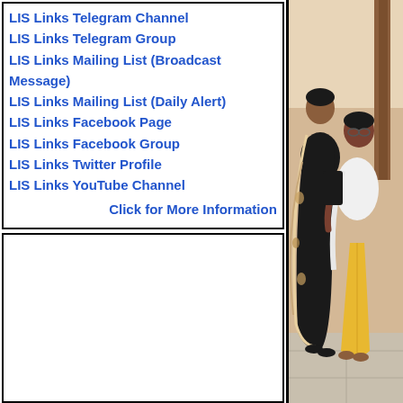LIS Links Telegram Channel
LIS Links Telegram Group
LIS Links Mailing List (Broadcast Message)
LIS Links Mailing List (Daily Alert)
LIS Links Facebook Page
LIS Links Facebook Group
LIS Links Twitter Profile
LIS Links YouTube Channel
Click for More Information
[Figure (photo): Two women standing indoors, one in dark outfit with a dupatta and one in white top with yellow pants, in what appears to be an indoor setting with wooden furniture in the background.]